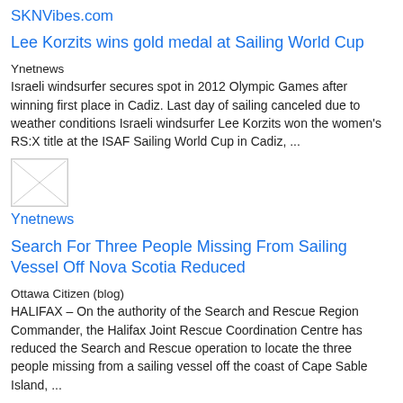SKNVibes.com
Lee Korzits wins gold medal at Sailing World Cup
Ynetnews
Israeli windsurfer secures spot in 2012 Olympic Games after winning first place in Cadiz. Last day of sailing canceled due to weather conditions Israeli windsurfer Lee Korzits won the women's RS:X title at the ISAF Sailing World Cup in Cadiz, ...
[Figure (photo): Small thumbnail image placeholder]
Ynetnews
Search For Three People Missing From Sailing Vessel Off Nova Scotia Reduced
Ottawa Citizen (blog)
HALIFAX – On the authority of the Search and Rescue Region Commander, the Halifax Joint Rescue Coordination Centre has reduced the Search and Rescue operation to locate the three people missing from a sailing vessel off the coast of Cape Sable Island, ...
BVI Spring Regatta & Sailing Festival: Appealing sailing and ...